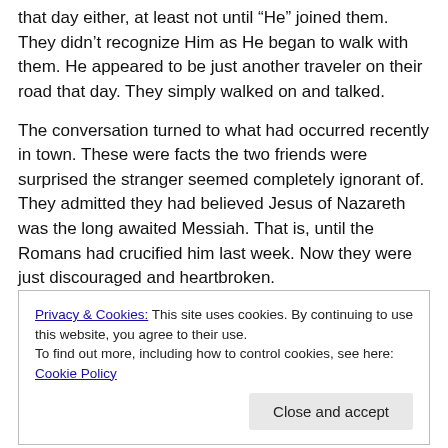that day either, at least not until “He” joined them. They didn’t recognize Him as He began to walk with them. He appeared to be just another traveler on their road that day. They simply walked on and talked.
The conversation turned to what had occurred recently in town. These were facts the two friends were surprised the stranger seemed completely ignorant of. They admitted they had believed Jesus of Nazareth was the long awaited Messiah. That is, until the Romans had crucified him last week. Now they were just discouraged and heartbroken.
Privacy & Cookies: This site uses cookies. By continuing to use this website, you agree to their use.
To find out more, including how to control cookies, see here: Cookie Policy
Close and accept
their minds to the Scriptures as He led them through